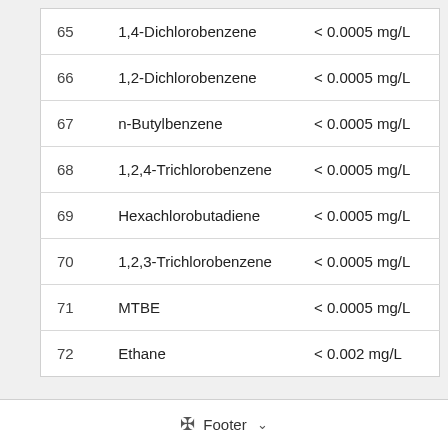| # | Compound | Value |
| --- | --- | --- |
| 65 | 1,4-Dichlorobenzene | < 0.0005 mg/L |
| 66 | 1,2-Dichlorobenzene | < 0.0005 mg/L |
| 67 | n-Butylbenzene | < 0.0005 mg/L |
| 68 | 1,2,4-Trichlorobenzene | < 0.0005 mg/L |
| 69 | Hexachlorobutadiene | < 0.0005 mg/L |
| 70 | 1,2,3-Trichlorobenzene | < 0.0005 mg/L |
| 71 | MTBE | < 0.0005 mg/L |
| 72 | Ethane | < 0.002 mg/L |
Footer